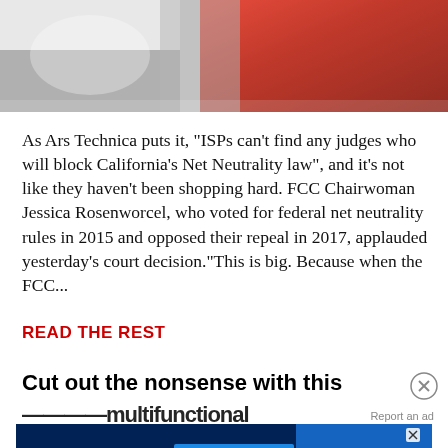[Figure (photo): Close-up photo of keyboard keys, one red key and white/grey keys, partially cropped at top of page]
As Ars Technica puts it, "ISPs can't find any judges who will block California's Net Neutrality law", and it's not like they haven't been shopping hard. FCC Chairwoman Jessica Rosenworcel, who voted for federal net neutrality rules in 2015 and opposed their repeal in 2017, applauded yesterday's court decision."This is big. Because when the FCC...
READ THE REST
Cut out the nonsense with this
[Figure (screenshot): Disney Bundle advertisement banner showing Hulu, Disney+, ESPN+ logos and GET THE DISNEY BUNDLE call to action button with fine print below]